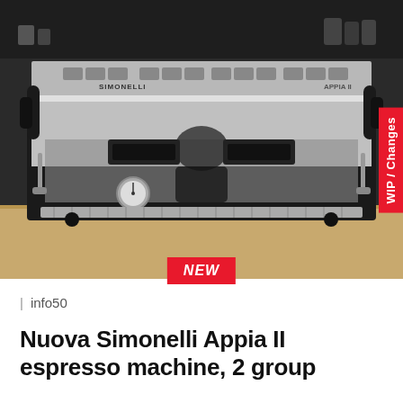[Figure (photo): A Nuova Simonelli Appia II two-group espresso machine in stainless steel and black, sitting on a wooden counter in a cafe setting. A person in a black shirt is visible in the reflection. The machine has the SIMONELLI and APPIA II branding. A red 'WIP / Changes' tab is visible on the right edge.]
NEW
| info50
Nuova Simonelli Appia II espresso machine, 2 group